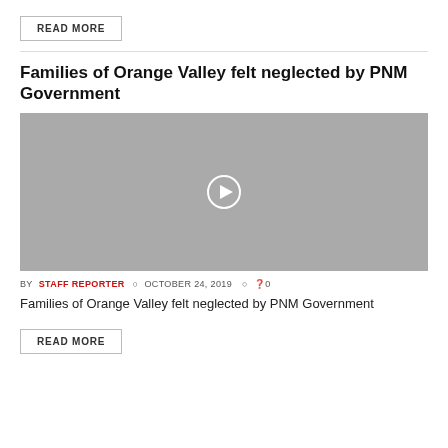READ MORE
Families of Orange Valley felt neglected by PNM Government
[Figure (screenshot): Video thumbnail placeholder — grey rectangle with a circular play button in the center]
BY STAFF REPORTER  OCTOBER 24, 2019  0
Families of Orange Valley felt neglected by PNM Government
READ MORE